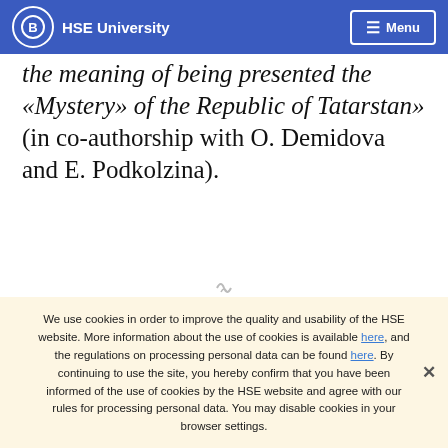HSE University  Menu
the meaning of being presented the «Mystery» of the Republic of Tatarstan» (in co-authorship with O. Demidova and E. Podkolzina).
We use cookies in order to improve the quality and usability of the HSE website. More information about the use of cookies is available here, and the regulations on processing personal data can be found here. By continuing to use the site, you hereby confirm that you have been informed of the use of cookies by the HSE website and agree with our rules for processing personal data. You may disable cookies in your browser settings.